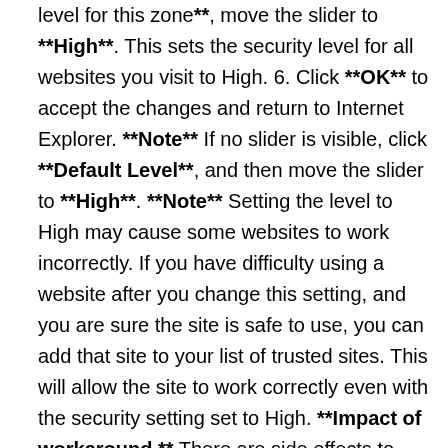level for this zone**, move the slider to **High**. This sets the security level for all websites you visit to High. 6. Click **OK** to accept the changes and return to Internet Explorer. **Note** If no slider is visible, click **Default Level**, and then move the slider to **High**. **Note** Setting the level to High may cause some websites to work incorrectly. If you have difficulty using a website after you change this setting, and you are sure the site is safe to use, you can add that site to your list of trusted sites. This will allow the site to work correctly even with the security setting set to High. **Impact of workaround.** There are side effects to blocking ActiveX Controls and Active Scripting. Many websites that are on the Internet or on an intranet use ActiveX or Active Scripting to provide additional functionality. For example, an online e-commerce site or banking site may use ActiveX Controls to provide menus, ordering forms, or even account statements. Blocking ActiveX Controls or Active Scripting is a global setting that